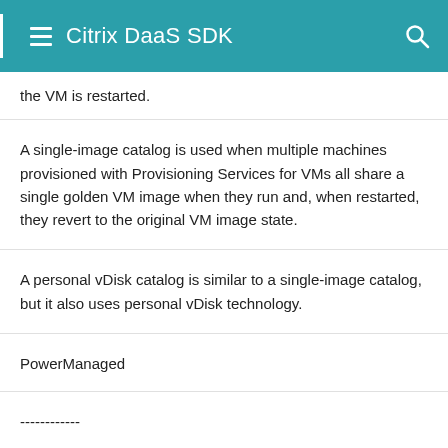Citrix DaaS SDK
the VM is restarted.
A single-image catalog is used when multiple machines provisioned with Provisioning Services for VMs all share a single golden VM image when they run and, when restarted, they revert to the original VM image state.
A personal vDisk catalog is similar to a single-image catalog, but it also uses personal vDisk technology.
PowerManaged
------------
This catalog kind is for managed machines